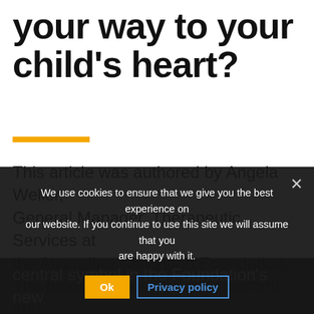your way to your child's heart?
This article was authored by Angela Weller, General Manager, Therapeutic Services at the Australian Childhood Foundation. The heart has become an important and
central symbol in the Foundation's new... to heal the pain... carry with them when they... ienced the
We use cookies to ensure that we give you the best experience on our website. If you continue to use this site we will assume that you are happy with it.